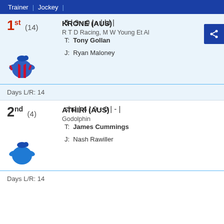Trainer | Jockey
1st (14) KRONE (AUS)
R T D Racing, M W Young Et Al
5 | 9 - 0 | - | bl |
T: Tony Gollan
J: Ryan Maloney
Days L/R: 14
2nd (4) ATHIRI (AUS)
Godolphin
shd | 4 | 9 - 0 | - |
T: James Cummings
J: Nash Rawiller
Days L/R: 14